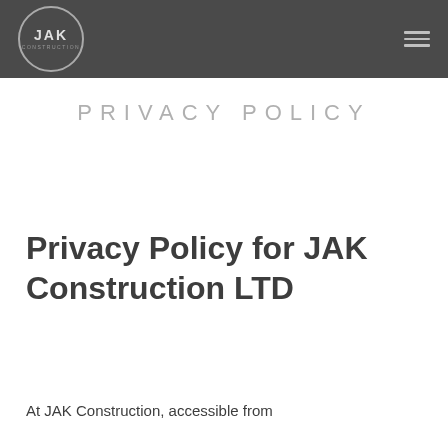[Figure (logo): JAK Construction circular logo with text JAK in the center and CONSTRUCTION below, set against a dark grey header bar with a hamburger menu icon on the right.]
PRIVACY POLICY
Privacy Policy for JAK Construction LTD
At JAK Construction, accessible from